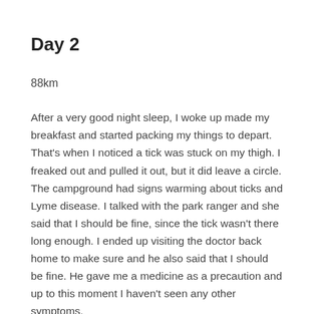Day 2
88km
After a very good night sleep, I woke up made my breakfast and started packing my things to depart. That's when I noticed a tick was stuck on my thigh. I freaked out and pulled it out, but it did leave a circle. The campground had signs warming about ticks and Lyme disease. I talked with the park ranger and she said that I should be fine, since the tick wasn't there long enough. I ended up visiting the doctor back home to make sure and he also said that I should be fine. He gave me a medicine as a precaution and up to this moment I haven't seen any other symptoms.
I crossed the bridge over the river to the Pennsylvania side of